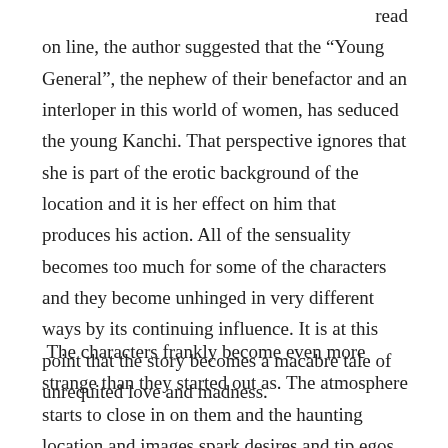read on line, the author suggested that the “Young General”, the nephew of their benefactor and an interloper in this world of women, has seduced the young Kanchi. That perspective ignores that she is part of the erotic background of the location and it is her effect on him that produces his action. All of the sensuality becomes too much for some of the characters and they become unhinged in very different ways by its continuing influence. It is at this point that the story becomes a macabre tale of unrequited love and madness.
The characters frankly become even more strange than they started out as. The atmosphere starts to close in on them and the haunting location and images spark desires and tip egos in ways that seem